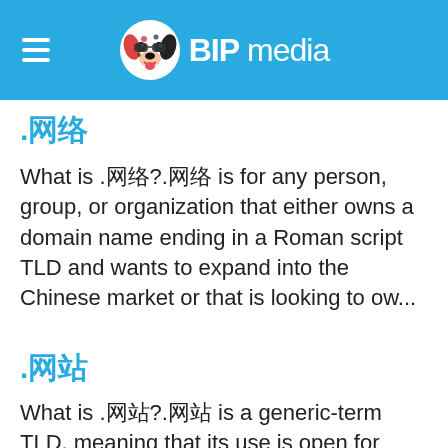BIPmedia
.网络
What is .网络?.网络 is for any person, group, or organization that either owns a domain name ending in a Roman script TLD and wants to expand into the Chinese market or that is looking to ow...
.网站
What is .网站?.网站 is a generic-term TLD, meaning that its use is open for interpretation by the individuals, groups, and businesses that choose to register